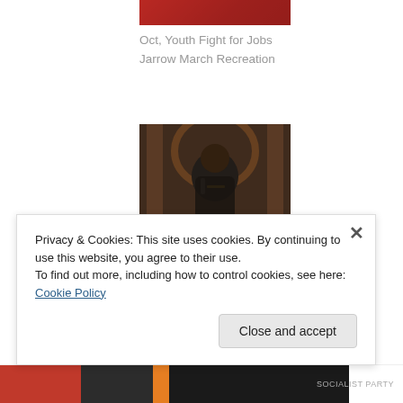[Figure (photo): Partial top image showing red/dark background, appears to be a crowd or event photo cropped at top]
Oct, Youth Fight for Jobs Jarrow March Recreation
[Figure (photo): A woman in a black jacket speaking into a microphone, standing in front of ornate wooden architectural background]
Nov, Support the Strikers, They Strike For All of Us
Privacy & Cookies: This site uses cookies. By continuing to use this website, you agree to their use.
To find out more, including how to control cookies, see here: Cookie Policy
Close and accept